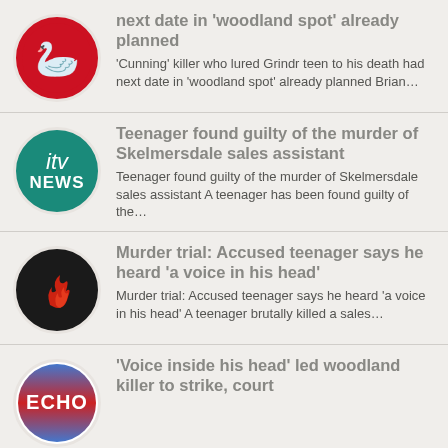next date in 'woodland spot' already planned — 'Cunning' killer who lured Grindr teen to his death had next date in 'woodland spot' already planned Brian...
Teenager found guilty of the murder of Skelmersdale sales assistant — Teenager found guilty of the murder of Skelmersdale sales assistant A teenager has been found guilty of the...
Murder trial: Accused teenager says he heard 'a voice in his head' — Murder trial: Accused teenager says he heard 'a voice in his head' A teenager brutally killed a sales...
'Voice inside his head' led woodland killer to strike, court